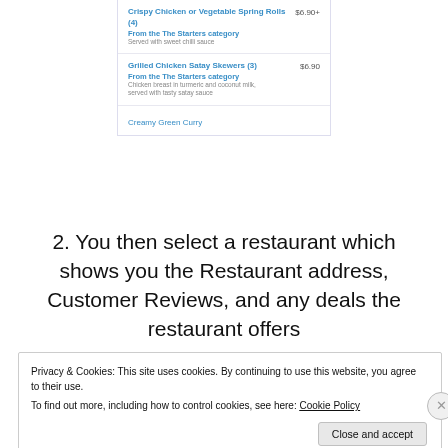[Figure (screenshot): Screenshot of a restaurant menu showing two items: Crispy Chicken or Vegetable Spring Rolls (4) From the The Starters category, Served with sweet chilli sauce, priced $6.90+; Grilled Chicken Satay Skewers (3) From the The Starters category, Chicken breast in turmeric and coconut milk, served with tasty satay sauce, priced $6.90; and a Creamy Green Curry link at the bottom.]
2. You then select a restaurant which shows you the Restaurant address, Customer Reviews, and any deals the restaurant offers
[Figure (screenshot): Screenshot of a restaurant page with a Skip To... link inside a dark red bordered white box.]
Privacy & Cookies: This site uses cookies. By continuing to use this website, you agree to their use.
To find out more, including how to control cookies, see here: Cookie Policy